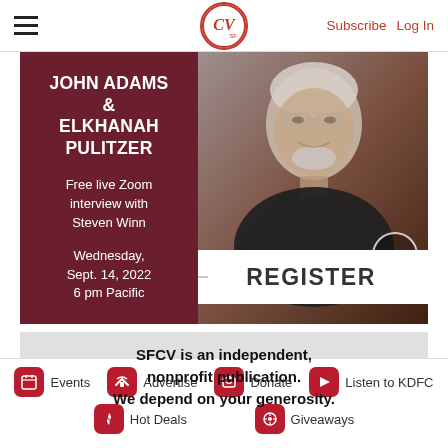CV SF — Subscribe  Log In
[Figure (infographic): Event promotion banner for John Adams & Elkhanah Pulitzer. Free live Zoom interview with Steven Winn. Wednesday, Sept. 14, 2022, 6 pm Pacific. REGISTER button. Photo of elderly man in black shirt. CV SF logo.]
[Figure (infographic): SFCV is an independent, nonprofit publication. We depend on your generosity. Gray background with blurred figures.]
Events  Advertise  Donate  Listen to KDFC  Hot Deals  Giveaways